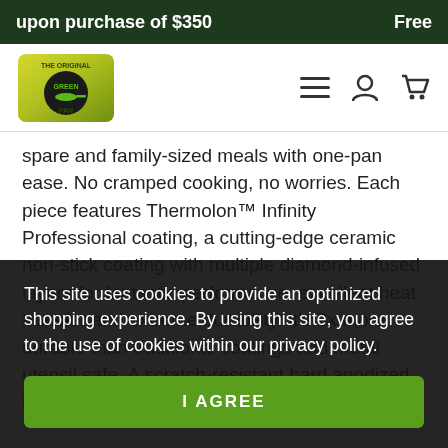upon purchase of $350   Free
[Figure (logo): GreenPan logo — circular green gradient background with black circle containing green pan icon and brand name]
spare and family-sized meals with one-pan ease. No cramped cooking, no worries. Each piece features Thermolon™ Infinity Professional coating, a cutting-edge ceramic non-stick coating with multiple diamond-infused layers for fantastic performance, excellent heat transfer and extreme durability. It's 3x more durable than traditional coatings and metal utensil safe. A scratch-resistant hard anodized body and stainless steel handles
This site uses cookies to provide an optimized shopping experience. By using this site, you agree to the use of cookies within our privacy policy.
I AGREE